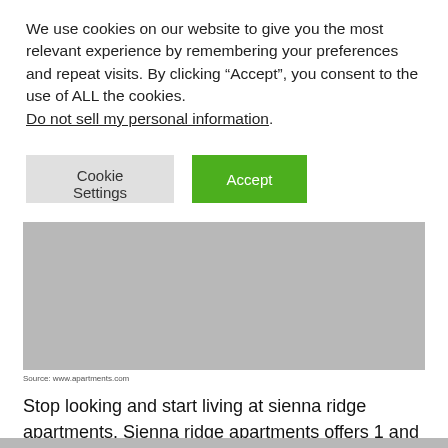We use cookies on our website to give you the most relevant experience by remembering your preferences and repeat visits. By clicking “Accept”, you consent to the use of ALL the cookies. Do not sell my personal information.
[Figure (screenshot): Cookie Settings and Accept buttons]
[Figure (photo): Gray placeholder image of apartment]
Source: www.apartments.com
Stop looking and start living at sienna ridge apartments. Sienna ridge apartments offers 1 and 2 bedroom floorplans.